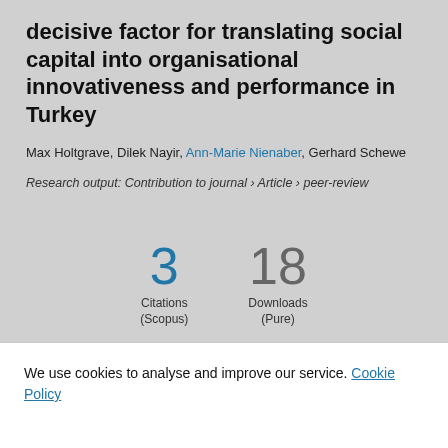decisive factor for translating social capital into organisational innovativeness and performance in Turkey
Max Holtgrave, Dilek Nayir, Ann-Marie Nienaber, Gerhard Schewe
Research output: Contribution to journal › Article › peer-review
3 Citations (Scopus)
18 Downloads (Pure)
We use cookies to analyse and improve our service. Cookie Policy